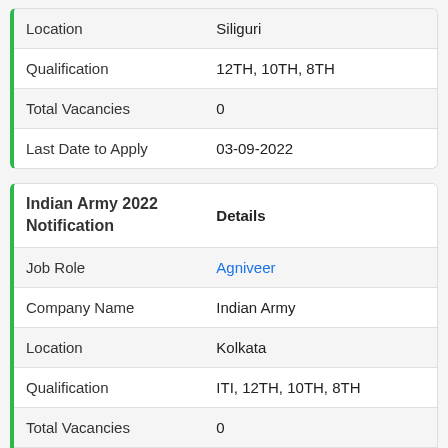| Location | Siliguri |
| Qualification | 12TH, 10TH, 8TH |
| Total Vacancies | 0 |
| Last Date to Apply | 03-09-2022 |
| Indian Army 2022 Notification | Details |
| --- | --- |
| Job Role | Agniveer |
| Company Name | Indian Army |
| Location | Kolkata |
| Qualification | ITI, 12TH, 10TH, 8TH |
| Total Vacancies | 0 |
| Last Date to Apply | 03-09-2022 |